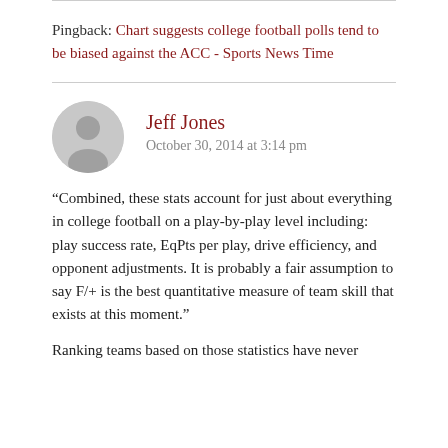Pingback: Chart suggests college football polls tend to be biased against the ACC - Sports News Time
Jeff Jones
October 30, 2014 at 3:14 pm
“Combined, these stats account for just about everything in college football on a play-by-play level including: play success rate, EqPts per play, drive efficiency, and opponent adjustments. It is probably a fair assumption to say F/+ is the best quantitative measure of team skill that exists at this moment.”
Ranking teams based on those statistics have never